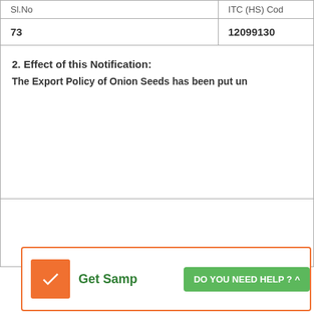| Sl.No | ITC (HS) Code |
| --- | --- |
| 73 | 12099130 |
2. Effect of this Notification:
The Export Policy of Onion Seeds has been put un
[Figure (screenshot): UI widget with orange icon, 'Get Samp' text in green, and 'DO YOU NEED HELP ? ^' green button]